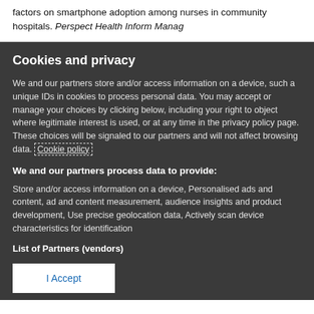factors on smartphone adoption among nurses in community hospitals. Perspect Health Inform Manag
Cookies and privacy
We and our partners store and/or access information on a device, such a unique IDs in cookies to process personal data. You may accept or manage your choices by clicking below, including your right to object where legitimate interest is used, or at any time in the privacy policy page. These choices will be signaled to our partners and will not affect browsing data. Cookie policy
We and our partners process data to provide:
Store and/or access information on a device, Personalised ads and content, ad and content measurement, audience insights and product development, Use precise geolocation data, Actively scan device characteristics for identification
List of Partners (vendors)
I Accept